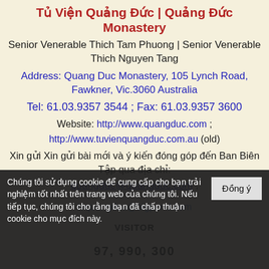Tủ Viện Quảng Đức | Quảng Đức Monastery
Senior Venerable Thich Tam Phuong | Senior Venerable Thich Nguyen Tang
Address: Quang Duc Monastery, 105 Lynch Road, Fawkner, Vic.3060 Australia
Tel: 61.03.9357 3544 ; Fax: 61.03.9357 3600
Website: http://www.quangduc.com ; http://www.tuvienquangduc.com.au (old)
Xin gửi Xin gửi bài mới và ý kiến đóng góp đến Ban Biên Tập qua địa chỉ:
quangduc@quangduc.com ,
tvquangduc@bigpond.com
VISITOR
97, 990, 300
Chúng tôi sử dụng cookie để cung cấp cho bạn trải nghiệm tốt nhất trên trang web của chúng tôi. Nếu tiếp tục, chúng tôi cho rằng bạn đã chấp thuận cookie cho mục đích này.
Đồng ý